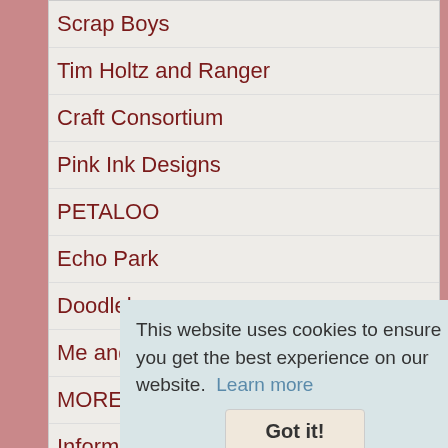Scrap Boys
Tim Holtz and Ranger
Craft Consortium
Pink Ink Designs
PETALOO
Echo Park
Doodlebug
Me and My BIG Ideas
MORE BRANDS
Information & Coming Soon
This website uses cookies to ensure you get the best experience on our website.  Learn more
Got it!
[Figure (logo): Sage Pay secure payment logo with padlock icon and SECURE PAYMENT text]
[Figure (logo): VISA credit card logo]
[Figure (logo): Maestro debit card logo]